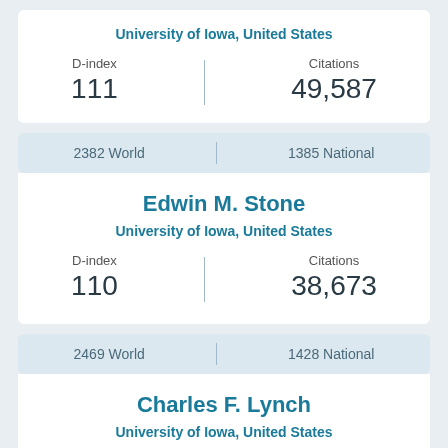University of Iowa, United States
| D-index | Citations |
| --- | --- |
| 111 | 49,587 |
2382 World | 1385 National
Edwin M. Stone
University of Iowa, United States
| D-index | Citations |
| --- | --- |
| 110 | 38,673 |
2469 World | 1428 National
Charles F. Lynch
University of Iowa, United States
| D-index | Citations |
| --- | --- |